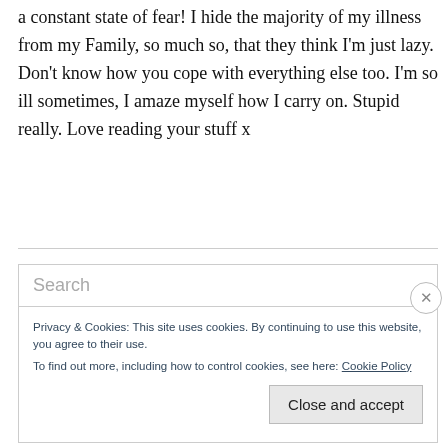a constant state of fear! I hide the majority of my illness from my Family, so much so, that they think I'm just lazy. Don't know how you cope with everything else too. I'm so ill sometimes, I amaze myself how I carry on. Stupid really. Love reading your stuff x
Search
Privacy & Cookies: This site uses cookies. By continuing to use this website, you agree to their use.
To find out more, including how to control cookies, see here: Cookie Policy
Close and accept